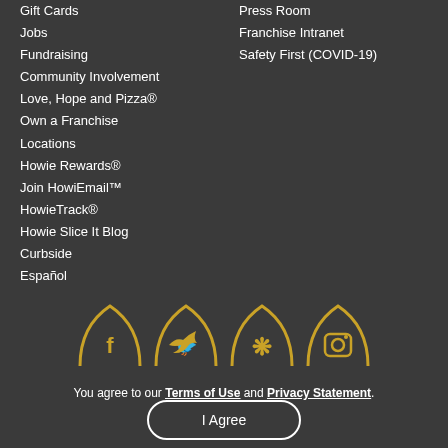Gift Cards
Jobs
Fundraising
Community Involvement
Love, Hope and Pizza®
Own a Franchise
Locations
Howie Rewards®
Join HowiEmail™
HowieTrack®
Howie Slice It Blog
Curbside
Español
Press Room
Franchise Intranet
Safety First (COVID-19)
[Figure (illustration): Four social media icons (Facebook, Twitter, Yelp, Instagram) with golden arch/semicircle backgrounds on dark background]
You agree to our Terms of Use and Privacy Statement.
I Agree